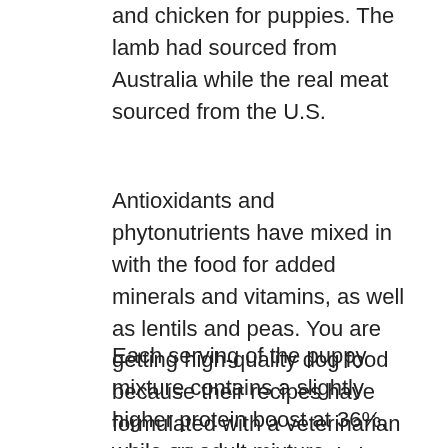and chicken for puppies. The lamb had sourced from Australia while the real meat sourced from the U.S.
Antioxidants and phytonutrients have mixed in with the food for added minerals and vitamins, as well as lentils and peas. You are getting high-quality dog food because their recipes have formulated with a veterinarian alongside them. There is less risk of having a bad stomach for a dog because there are no added grains in the dog food.
Each serving of the puppy mixture contains a slightly higher protein boost at 36%, while an adult mixture contains 35% protein to help keep your dog strong, healthy, and active. First, ensure that your dog is getting the best food possible